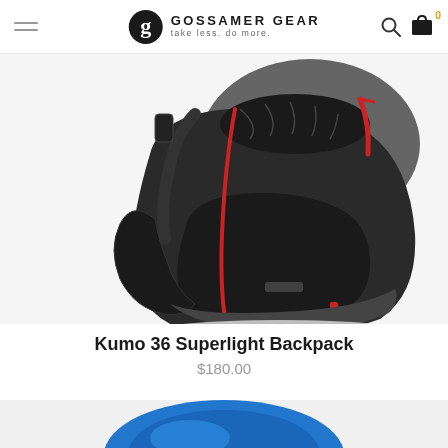Gossamer Gear — take less. do more.
[Figure (photo): Close-up photo of a Kumo 36 Superlight Backpack showing black and dark grey body with red zipper pulls and side pockets, on white background.]
Kumo 36 Superlight Backpack
$180.00
[Figure (photo): Partial view of another blue backpack product at the bottom of the page, cropped.]